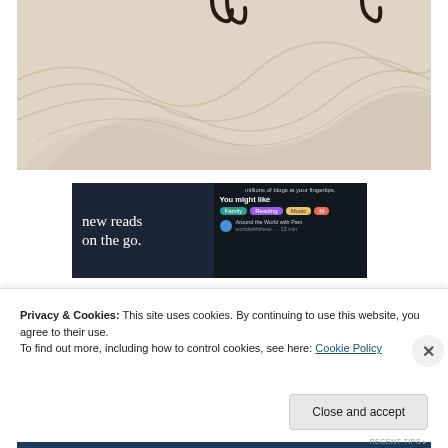[Figure (photo): Close-up photograph of cream/beige draped fabric with dark metal hooks visible at the top]
[Figure (screenshot): WordPress.com advertisement banner showing 'new reads on the go.' text on dark background with 'You might like' recommendation panel showing tags Family, Reading, Music and a blog listing for 'Around the World with Pam']
Privacy & Cookies: This site uses cookies. By continuing to use this website, you agree to their use.
To find out more, including how to control cookies, see here: Cookie Policy
Close and accept